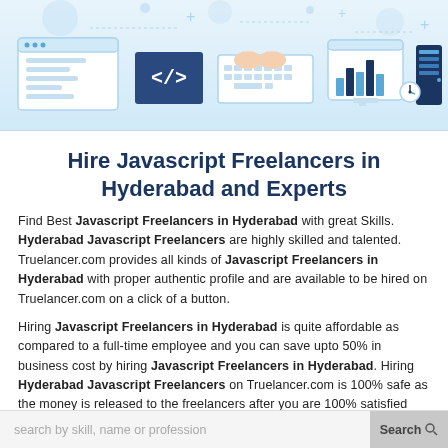[Figure (illustration): Banner with technology icons: browser window, code tag symbol, hands typing on keyboard, monitor with bar chart, server/database tower, clock/gauge, document with checkboxes, and pencil — all in a light blue flat-design illustration style]
Hire Javascript Freelancers in Hyderabad and Experts
Find Best Javascript Freelancers in Hyderabad with great Skills. Hyderabad Javascript Freelancers are highly skilled and talented. Truelancer.com provides all kinds of Javascript Freelancers in Hyderabad with proper authentic profile and are available to be hired on Truelancer.com on a click of a button.
Hiring Javascript Freelancers in Hyderabad is quite affordable as compared to a full-time employee and you can save upto 50% in business cost by hiring Javascript Freelancers in Hyderabad. Hiring Hyderabad Javascript Freelancers on Truelancer.com is 100% safe as the money is released to the freelancers after you are 100% satisfied with the work.
search by skill, name or profession    Search